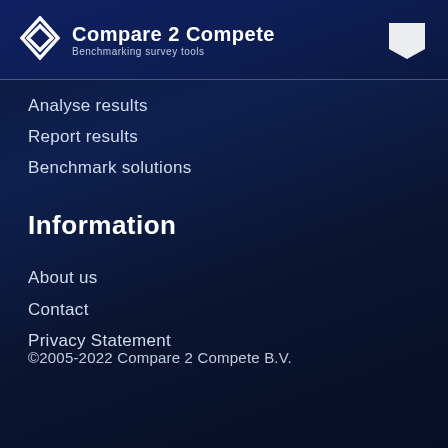Compare 2 Compete — Benchmarking survey tools
Analyse results
Report results
Benchmark solutions
Information
About us
Contact
Privacy Statement
©2005-2022 Compare 2 Compete B.V.